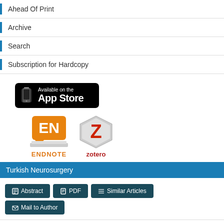Ahead Of Print
Archive
Search
Subscription for Hardcopy
[Figure (logo): Available on the App Store badge]
[Figure (logo): EndNote and Zotero reference manager logos]
Turkish Neurosurgery
Abstract | PDF | Similar Articles | Mail to Author
Fragmentation to Epidural Space: First Documented